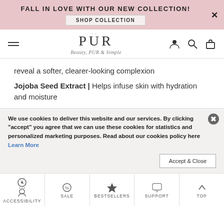FALL IN LOVE WITH OUR NEW COLLECTION! SHOP COLLECTION
[Figure (logo): PUR Beauty logo with tagline 'Beauty, PÜR & Simple']
reveal a softer, clearer-looking complexion
Jojoba Seed Extract | Helps infuse skin with hydration and moisture
We use cookies to deliver this website and our services. By clicking "accept" you agree that we can use these cookies for statistics and personalized marketing purposes. Read about our cookies policy here Learn More
ACCESSIBILITY | SALE | BESTSELLERS | SUPPORT | TOP